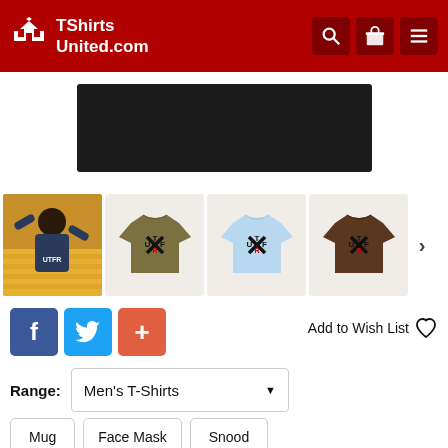TShirts United.com
[Figure (photo): Dark/black folded t-shirt product main image]
[Figure (photo): Thumbnail 1: person wearing UTFR logo t-shirt at stadium]
[Figure (photo): Thumbnail 2: olive/green UTFR logo t-shirt]
[Figure (photo): Thumbnail 3: light blue UTFR logo t-shirt]
[Figure (photo): Thumbnail 4: brown UTFR logo t-shirt]
Add to Wish List
Range: Men's T-Shirts
Mug
Face Mask
Snood
Baseball Cap
Beanie